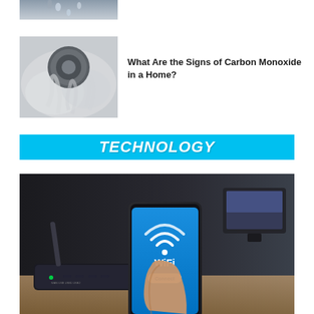[Figure (photo): Partial view of water dripping or a plumbing fixture, top of image cropped]
[Figure (photo): Close-up of a smoke detector with smoke around it, gray tones]
What Are the Signs of Carbon Monoxide in a Home?
TECHNOLOGY
[Figure (photo): A hand holding a smartphone displaying a WiFi Connect screen, with a router in the foreground and a monitor in the background]